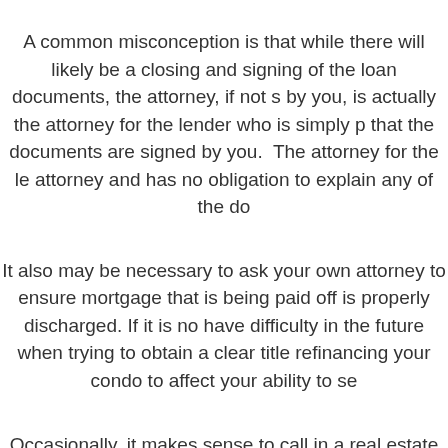A common misconception is that while there will likely be a closing and signing of the loan documents, the attorney, if not selected by you, is actually the attorney for the lender who is simply present that the documents are signed by you. The attorney for the lender is not your attorney and has no obligation to explain any of the documents to you.
It also may be necessary to ask your own attorney to ensure that the mortgage that is being paid off is properly discharged. If it is not, you may have difficulty in the future when trying to obtain a clear title or when refinancing your condo to affect your ability to sell.
Occasionally, it makes sense to call in a real estate attorney early on in the process when you're hoping to discover the reputation of a new lender. The unfortunate reality is that there are numerous lenders out there that are happy to steal your personal data or sell you a mortgage not precisely above board. If you have any questions or concerns about a mortgage company or feel that you may have been the victim of fraud, do not hesitate to contact an experienced attorney.
If you are thinking about refinancing your home, don't be in too much of a rush. This is a complicated financial transaction that requires careful consideration. The choice you make may affect your future for many years.